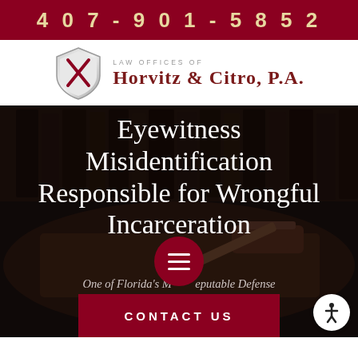407-901-5852
[Figure (logo): Law Offices of Horvitz & Citro, P.A. logo with shield icon containing crossed swords]
Eyewitness Misidentification Responsible for Wrongful Incarceration
One of Florida's Most Reputable Defense Law Firms
CONTACT US